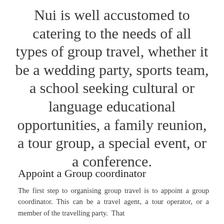Nui is well accustomed to catering to the needs of all types of group travel, whether it be a wedding party, sports team, a school seeking cultural or language educational opportunities, a family reunion, a tour group, a special event, or a conference.
Appoint a Group coordinator
The first step to organising group travel is to appoint a group coordinator. This can be a travel agent, a tour operator, or a member of the travelling party. That